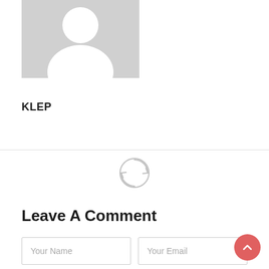[Figure (illustration): Gray placeholder avatar silhouette showing a person icon (head and shoulders) on a gray background]
KLEP
[Figure (other): Circular refresh/sync icon with two rotating arrows, in light gray]
Leave A Comment
Your Name
Your Email